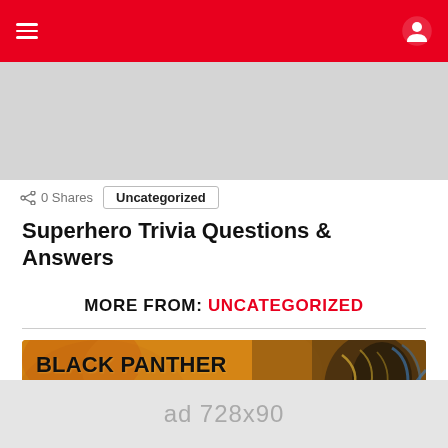≡  (navigation icons)
0 Shares   Uncategorized
Superhero Trivia Questions & Answers
MORE FROM: UNCATEGORIZED
[Figure (photo): Black Panther Trivia card with orange background and Black Panther character artwork on the right side. Text reads BLACK PANTHER TRIVIA. Has a close button.]
ad 728x90